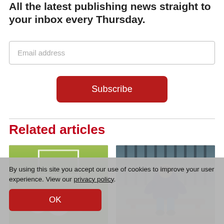All the latest publishing news straight to your inbox every Thursday.
[Figure (screenshot): Email address input field with placeholder text 'Email address']
[Figure (screenshot): Red Subscribe button]
Related articles
[Figure (photo): Three soccer/footballs on green artificial grass in front of a goal]
[Figure (photo): Person sitting hunched over on a bench, viewed from behind]
By using this site you accept our use of cookies to improve your user experience. View our privacy policy.
[Figure (screenshot): Red OK button in cookie consent banner]